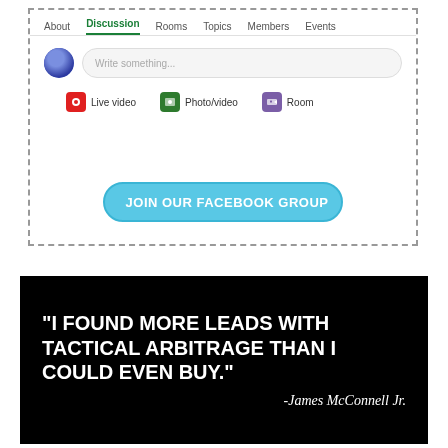[Figure (screenshot): Facebook group page screenshot showing navigation tabs (About, Discussion, Rooms, Topics, Members, Events), a write something input bar with avatar, and action buttons (Live video, Photo/video, Room), plus a teal 'JOIN OUR FACEBOOK GROUP' button with pencil icon]
[Figure (infographic): Black background quote image reading: "I FOUND MORE LEADS WITH TACTICAL ARBITRAGE THAN I COULD EVEN BUY." - James McConnell Jr.]